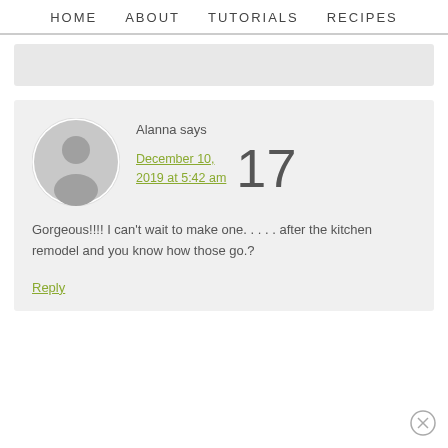HOME   ABOUT   TUTORIALS   RECIPES
Alanna says
December 10, 2019 at 5:42 am
17

Gorgeous!!!! I can't wait to make one. . . . . after the kitchen remodel and you know how those go.?

Reply